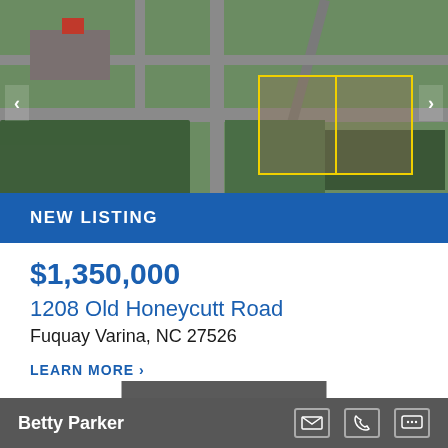[Figure (photo): Aerial satellite view of intersection near 1208 Old Honeycutt Road, Fuquay Varina NC, with yellow outlined parcel boundary visible]
NEW LISTING
$1,350,000
1208 Old Honeycutt Road
Fuquay Varina, NC 27526
LEARN MORE >
VIEW ALL
Betty Parker